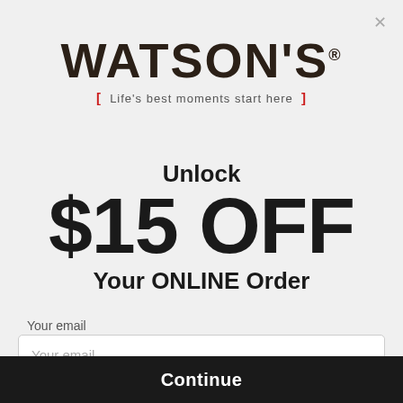[Figure (logo): Watson's logo with tagline 'Life's best moments start here']
Unlock $15 OFF Your ONLINE Order
Your email
Your email (input placeholder)
Continue